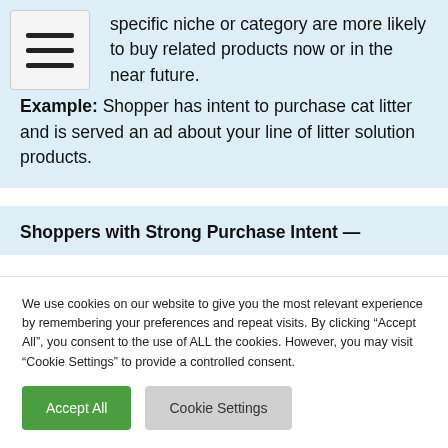specific niche or category are more likely to buy related products now or in the near future.
Example: Shopper has intent to purchase cat litter and is served an ad about your line of litter solution products.
Shoppers with Strong Purchase Intent —
We use cookies on our website to give you the most relevant experience by remembering your preferences and repeat visits. By clicking "Accept All", you consent to the use of ALL the cookies. However, you may visit "Cookie Settings" to provide a controlled consent.